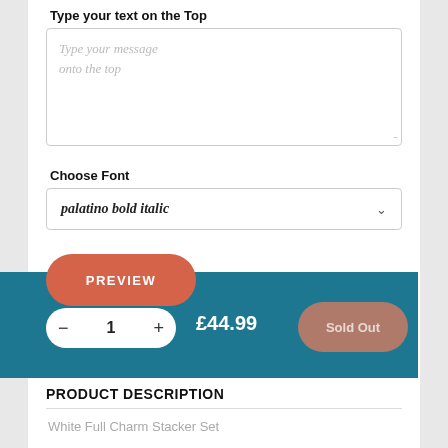Type your text on the Top
Type your message onto the top
Choose Font
palatino bold italic
PREVIEW
£44.99
Sold Out
PRODUCT DESCRIPTION
White Full Charm Stacker Set